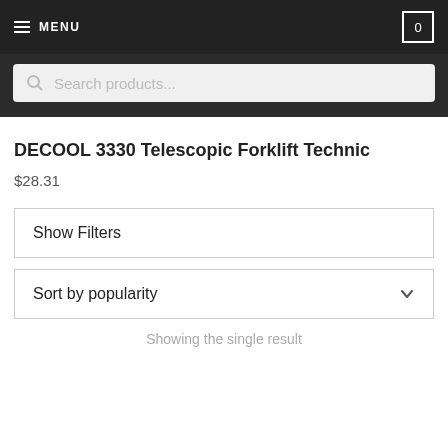MENU  0
Search products...
DECOOL 3330 Telescopic Forklift Technic
$28.31
Show Filters
Sort by popularity
Showing the single result